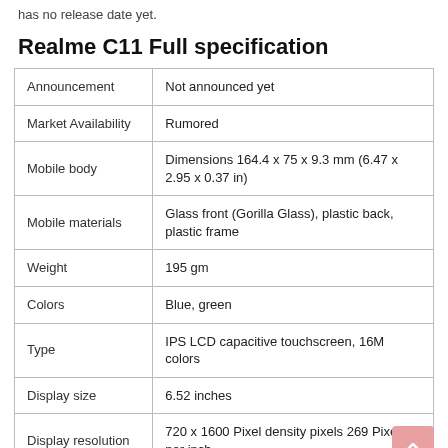has no release date yet.
Realme C11 Full specification
|  |  |
| --- | --- |
| Announcement | Not announced yet |
| Market Availability | Rumored |
| Mobile body | Dimensions 164.4 x 75 x 9.3 mm (6.47 x 2.95 x 0.37 in) |
| Mobile materials | Glass front (Gorilla Glass), plastic back, plastic frame |
| Weight | 195 gm |
| Colors | Blue, green |
| Type | IPS LCD capacitive touchscreen, 16M colors |
| Display size | 6.52 inches |
| Display resolution | 720 x 1600 Pixel density pixels 269 Pixels per inch |